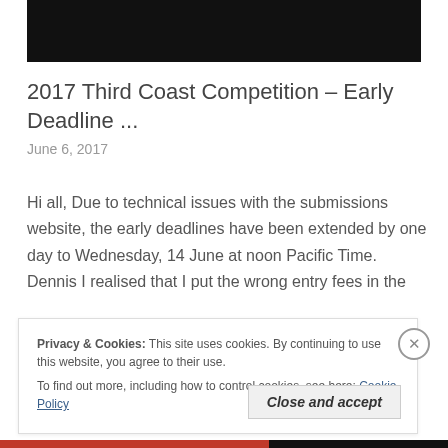[Figure (photo): Dark/black image block at top of page]
2017 Third Coast Competition – Early Deadline ...
June 6, 2017
Hi all, Due to technical issues with the submissions website, the early deadlines have been extended by one day to Wednesday, 14 June at noon Pacific Time. Dennis I realised that I put the wrong entry fees in the
Privacy & Cookies: This site uses cookies. By continuing to use this website, you agree to their use.
To find out more, including how to control cookies, see here: Cookie Policy
Close and accept